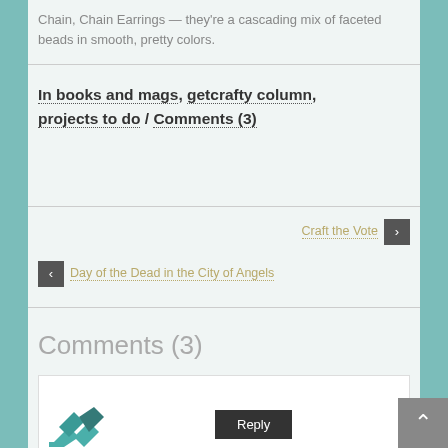Chain, Chain Earrings — they're a cascading mix of faceted beads in smooth, pretty colors.
In books and mags, getcrafty column, projects to do / Comments (3)
Craft the Vote
Day of the Dead in the City of Angels
Comments (3)
[Figure (logo): Teal/dark teal geometric logo mark]
Reply